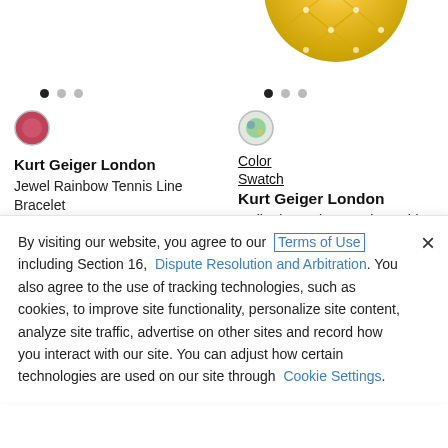[Figure (photo): Partial view of gold quilted bangle bracelet on white background, top right column]
[Figure (photo): Color swatch circle - pink/red tone, left column]
Kurt Geiger London
Jewel Rainbow Tennis Line Bracelet
$88.00
Limited Availability
[Figure (photo): Color swatch circle - multicolor/green tone, right column]
Color
Swatch
Kurt Geiger London
Quilted Bangle Bracelet Gold
$148.00
By visiting our website, you agree to our Terms of Use including Section 16, Dispute Resolution and Arbitration. You also agree to the use of tracking technologies, such as cookies, to improve site functionality, personalize site content, analyze site traffic, advertise on other sites and record how you interact with our site. You can adjust how certain technologies are used on our site through Cookie Settings.